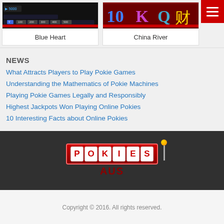[Figure (screenshot): Blue Heart slot game card with dark background and red bar at bottom]
Blue Heart
[Figure (screenshot): China River slot game card with red/dark background showing playing card symbols]
China River
NEWS
What Attracts Players to Play Pokie Games
Understanding the Mathematics of Pokie Machines
Playing Pokie Games Legally and Responsibly
Highest Jackpots Won Playing Online Pokies
10 Interesting Facts about Online Pokies
[Figure (logo): PokiesAUS logo with slot machine style red boxes spelling POKIES and AUS text below, slot machine lever graphic]
Copyright © 2016. All rights reserved.